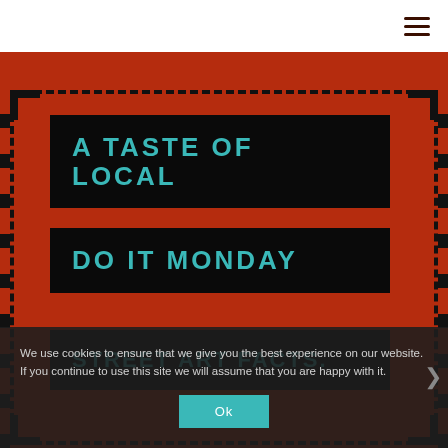≡ (hamburger menu icon)
A TASTE OF LOCAL
DO IT MONDAY
STREET ART FACTS.
We use cookies to ensure that we give you the best experience on our website. If you continue to use this site we will assume that you are happy with it.
Ok